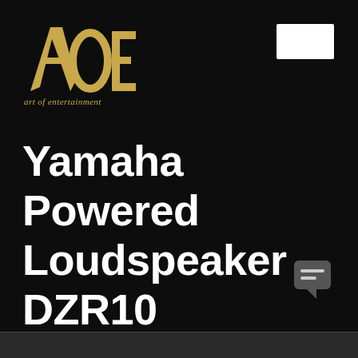[Figure (logo): AOE (Art of Entertainment) logo in gold/copper color with stylized letters A, O, E and tagline 'art of entertainment' in italic below]
[Figure (other): White rectangle button in top-right corner]
Yamaha Powered Loudspeaker DZR10
[Figure (other): Chat/message bubble icon in bottom-right area]